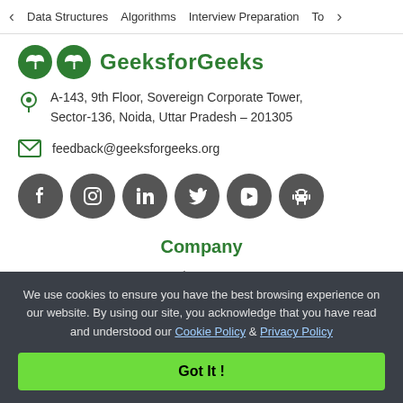< Data Structures   Algorithms   Interview Preparation   To>
[Figure (logo): GeeksforGeeks logo with two green circles and brand name text in green]
A-143, 9th Floor, Sovereign Corporate Tower, Sector-136, Noida, Uttar Pradesh – 201305
feedback@geeksforgeeks.org
[Figure (infographic): Six dark grey circular social media icons: Facebook, Instagram, LinkedIn, Twitter, YouTube, Android]
Company
About Us
Careers
We use cookies to ensure you have the best browsing experience on our website. By using our site, you acknowledge that you have read and understood our Cookie Policy & Privacy Policy
Got It !